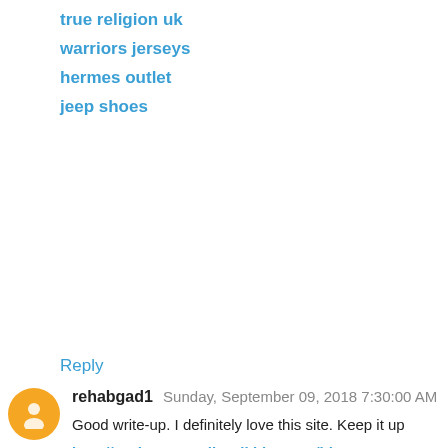true religion uk
warriors jerseys
hermes outlet
jeep shoes
Reply
rehabgad1  Sunday, September 09, 2018 7:30:00 AM
Good write-up. I definitely love this site. Keep it up
http://prokr123saudia.wikidot.com/blog:_start
http://prokr123.webstarts.com/
http://proker.ucoz.ae/blog/